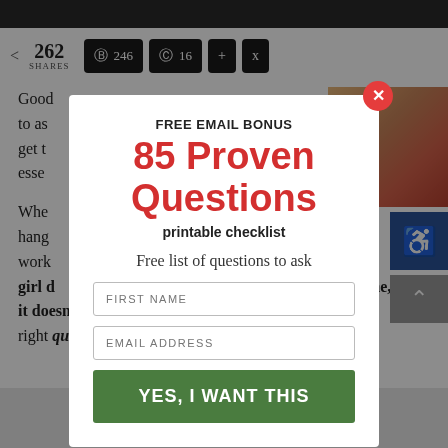262 SHARES | 246 | 16
Good… to ask… get t… esse…
Whe… hang… work… a girl d… me, it doesn't have to be. It's all about knowing the right questions to ask.
[Figure (screenshot): Email signup modal popup: FREE EMAIL BONUS / 85 Proven Questions / printable checklist / Free list of questions to ask / FIRST NAME input / EMAIL ADDRESS input / YES, I WANT THIS button. Red close button top-right.]